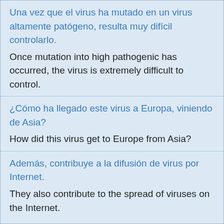Una vez que el virus ha mutado en un virus altamente patógeno, resulta muy difícil controlarlo.
Once mutation into high pathogenic has occurred, the virus is extremely difficult to control.
¿Cómo ha llegado este virus a Europa, viniendo de Asia?
How did this virus get to Europe from Asia?
Además, contribuye a la difusión de virus por Internet.
They also contribute to the spread of viruses on the Internet.